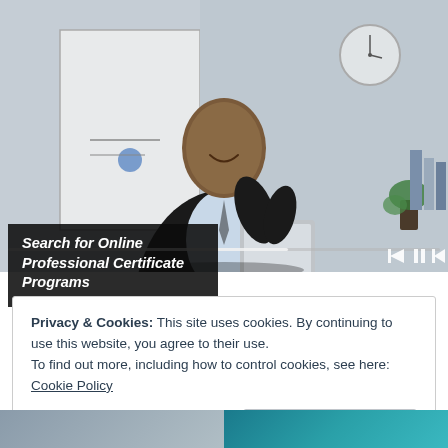[Figure (photo): A smiling man in a dark suit holding a tablet, standing in an office/professional setting with a whiteboard and clock visible in the background. Video player controls (rewind, pause, fast-forward) appear at the bottom right of the image.]
Search for Online Professional Certificate Programs
Privacy & Cookies: This site uses cookies. By continuing to use this website, you agree to their use.
To find out more, including how to control cookies, see here: Cookie Policy
Close and accept
[Figure (photo): Two partial images at the bottom of the page: left shows a person in a professional setting (grey tones), right shows a person with teal/blue background.]